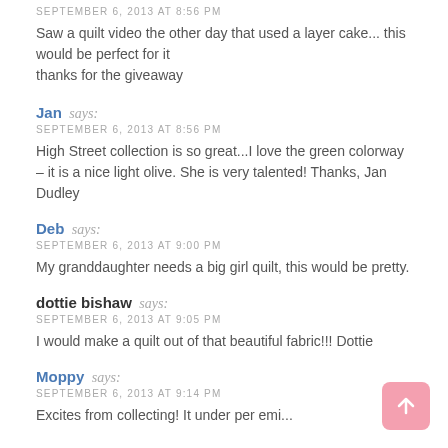SEPTEMBER 6, 2013 AT 8:56 PM
Saw a quilt video the other day that used a layer cake... this would be perfect for it
thanks for the giveaway
Jan says:
SEPTEMBER 6, 2013 AT 8:56 PM
High Street collection is so great...I love the green colorway – it is a nice light olive. She is very talented! Thanks, Jan Dudley
Deb says:
SEPTEMBER 6, 2013 AT 9:00 PM
My granddaughter needs a big girl quilt, this would be pretty.
dottie bishaw says:
SEPTEMBER 6, 2013 AT 9:05 PM
I would make a quilt out of that beautiful fabric!!! Dottie
Moppy says:
SEPTEMBER 6, 2013 AT 9:14 PM
Excites from collecting! It under per emi...